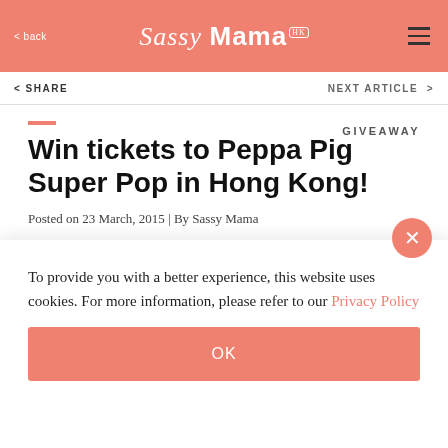Sassy Mama HK
< back
< SHARE    NEXT ARTICLE >
GIVEAWAY
Win tickets to Peppa Pig Super Pop in Hong Kong!
Posted on 23 March, 2015 | By Sassy Mama
[Figure (photo): Partial photo showing Peppa Pig characters]
To provide you with a better experience, this website uses cookies. For more information, please refer to our Privacy Policy
OK